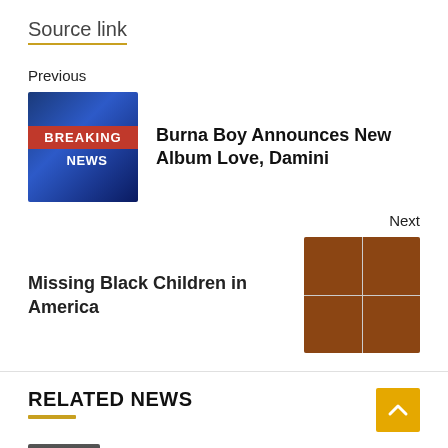Source link
Previous
[Figure (photo): Breaking News graphic with red bar and blue background]
Burna Boy Announces New Album Love, Damini
Next
Missing Black Children in America
[Figure (photo): Grid of four faces of missing children]
RELATED NEWS
[Figure (logo): Music & Marketing logo]
Tentative accord reached to